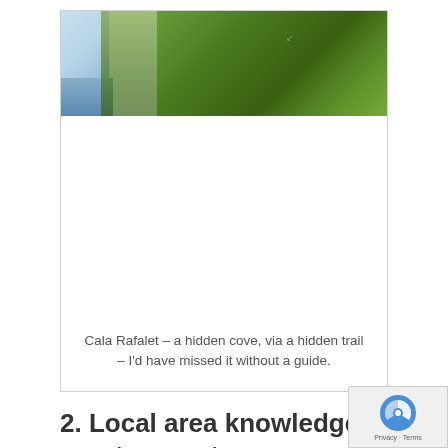[Figure (photo): Photo of Cala Rafalet showing sky and dense green trees/vegetation, partially loaded with large white area]
Cala Rafalet – a hidden cove, via a hidden trail – I'd have missed it without a guide.
2. Local area knowledge. Need somewhere to stay? Want to get a bit of history about the